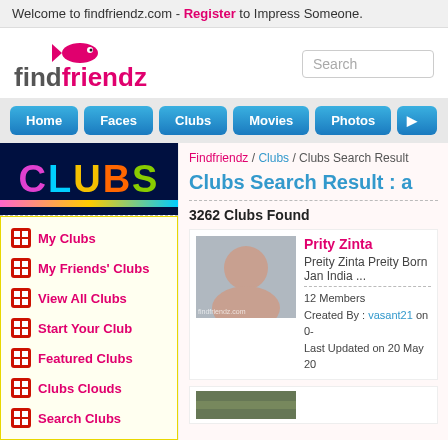Welcome to findfriendz.com - Register to Impress Someone.
[Figure (logo): findfriendz.com logo with pink fish and text]
Search
Home
Faces
Clubs
Movies
Photos
[Figure (illustration): CLUBS banner with colorful letters on dark blue background]
My Clubs
My Friends' Clubs
View All Clubs
Start Your Club
Featured Clubs
Clubs Clouds
Search Clubs
Findfriendz / Clubs / Clubs Search Result
Clubs Search Result : a
3262 Clubs Found
[Figure (photo): Photo of Preity Zinta]
Prity Zinta
Preity Zinta Preity Born Jan India ...
12 Members
Created By : vasant21 on 0-
Last Updated on 20 May 20
[Figure (photo): Second club thumbnail photo]